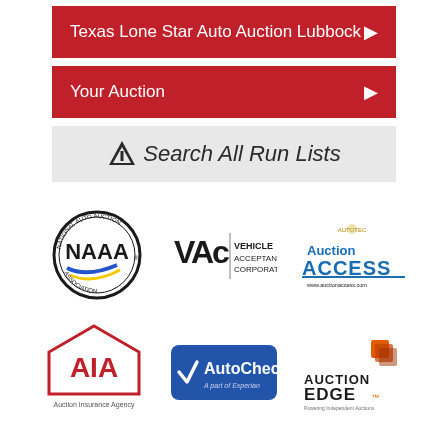Texas Lone Star Auto Auction Lubbock
Your Auction
[Figure (other): Search All Run Lists button with road/highway icon]
[Figure (other): Row of partner logos: NAAA (National Auto Auction Association), Vehicle Acceptance Corporation, Auction Access (www.auctionaccess.com)]
[Figure (other): Row of partner logos: AIA (Auction Insurance Agency), AutoCheck (a part of Experian), Auction Edge (Powering Independent Auctions)]